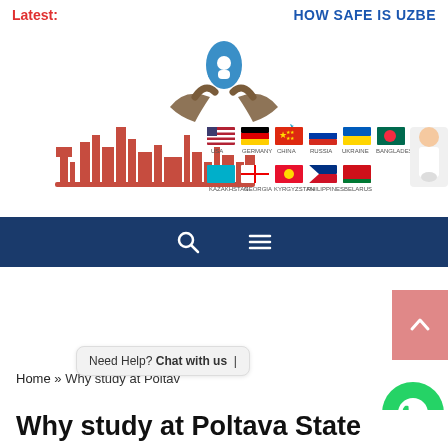Latest:   HOW SAFE IS UZBE
[Figure (logo): Education consultancy website header with logo (hands cradling a person silhouette with blue droplet), a red cityscape silhouette with airplane, country flags (USA, Germany, China, Russia, Ukraine, Bangladesh, Kazakhstan, Georgia, Kyrgyzstan, Philippines, Belarus), and a partial doctor image on the right.]
[Figure (screenshot): Dark blue navigation bar with search icon and hamburger menu icon]
[Figure (other): Salmon/pink scroll-to-top button with upward caret]
Home » Why study at Poltav...
[Figure (other): Need Help? Chat with us tooltip bubble]
[Figure (other): WhatsApp contact button (green circle with phone icon)]
Why study at Poltava State